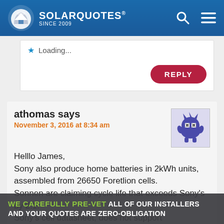[Figure (logo): SolarQuotes logo with house icon and text 'SOLARQUOTES SINCE 2009' on blue gradient header bar, with search and menu icons]
Loading...
REPLY
athomas says
November 3, 2016 at 8:34 am
[Figure (illustration): Avatar: pixel-art style blue fluffy monster character]
Helllo James,
Sony also produce home batteries in 2kWh units, assembled from 26650 Foretlion cells.
Sonnen are claiming cycle life that exceeds Sony's by 2:1.
Sony's cell datasheet, does not support Sonnen... Would you...ta, test
WE CAREFULLY PRE-VET ALL OF OUR INSTALLERS AND YOUR QUOTES ARE ZERO-OBLIGATION